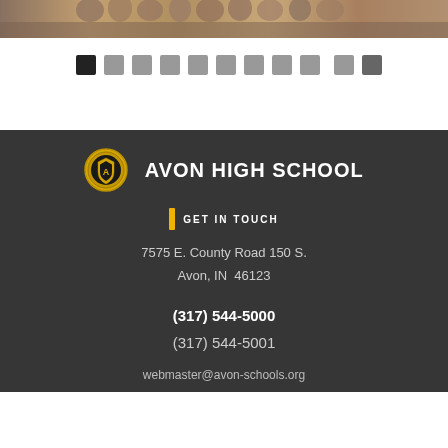[Figure (photo): Group photo of students or people at Avon High School, shown as a horizontal banner/strip at the top of the page]
[Figure (infographic): Navigation dots/pagination indicator row with 11 squares, first one dark/active and the rest gray]
[Figure (logo): Avon High School circular logo/seal in gold and black]
AVON HIGH SCHOOL
GET IN TOUCH
7575 E. County Road 150 S.
Avon, IN  46123
(317) 544-5000
(317) 544-5001
webmaster@avon-schools.org